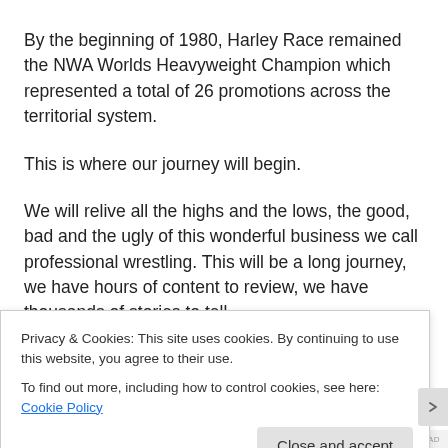By the beginning of 1980, Harley Race remained the NWA Worlds Heavyweight Champion which represented a total of 26 promotions across the territorial system.
This is where our journey will begin.
We will relive all the highs and the lows, the good, bad and the ugly of this wonderful business we call professional wrestling. This will be a long journey, we have hours of content to review, we have thousands of stories to tell.
Privacy & Cookies: This site uses cookies. By continuing to use this website, you agree to their use.
To find out more, including how to control cookies, see here: Cookie Policy
ABOUT THIS AD